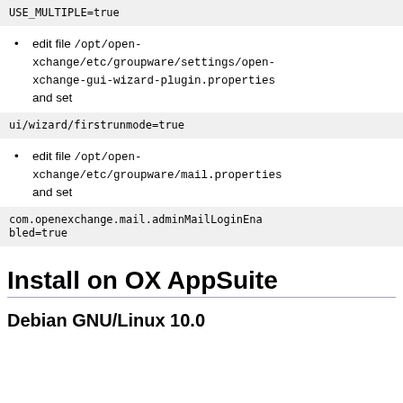USE_MULTIPLE=true
edit file /opt/open-xchange/etc/groupware/settings/open-xchange-gui-wizard-plugin.properties and set
ui/wizard/firstrunmode=true
edit file /opt/open-xchange/etc/groupware/mail.properties and set
com.openexchange.mail.adminMailLoginEnabled=true
Install on OX AppSuite
Debian GNU/Linux 10.0